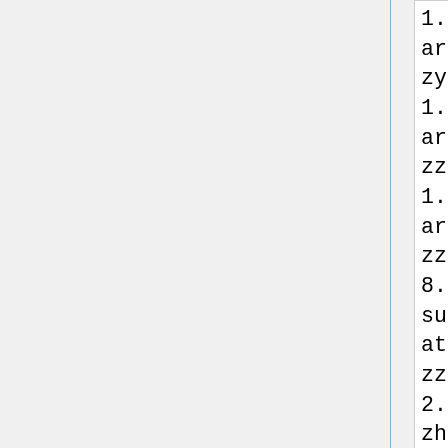1.0,http://robocode-archive.strangeautomata.com/rob
zyx.nano.RedBull
1.0,http://robocode-archive.strangeautomata.com/rob
zzx.Gron
1.14,http://robocode-archive.strangeautomata.com/rob
zzx.Ignohis
8.0,https://sites.google.com/si
surfers/zzx.Ignohis_8.0.jar?
attredirects=0&d=1
zzx.Serunyr
2.0.2,https://github.com/alekse
zhidkov/rc-repo-mirror/raw/master/zzx.Serunyr_2
zzx.StormHead
1.0.1,http://robocode-archive.strangeautomata.com/rob
If you can see this line when finish loading, the participants list is ok, otherwise, undo the last revision